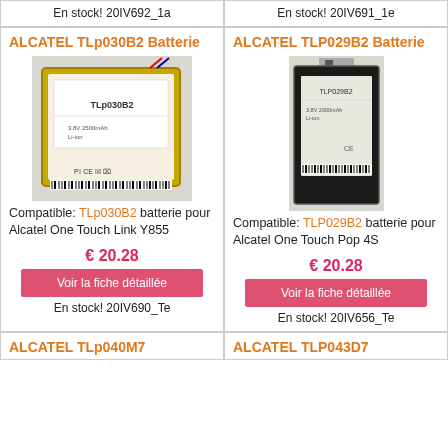En stock! 20IV692_1a
En stock! 20IV691_1e
ALCATEL TLp030B2 Batterie
[Figure (photo): Photo of Alcatel TLp030B2 battery, square shape with yellow border]
Compatible: TLp030B2 batterie pour Alcatel One Touch Link Y855
€ 20.28
Voir la fiche détaillée
En stock! 20IV690_Te
ALCATEL TLP029B2 Batterie
[Figure (photo): Photo of Alcatel TLP029B2 battery, slim rectangular shape]
Compatible: TLP029B2 batterie pour Alcatel One Touch Pop 4S
€ 20.28
Voir la fiche détaillée
En stock! 20IV656_Te
ALCATEL TLp040M7
ALCATEL TLP043D7